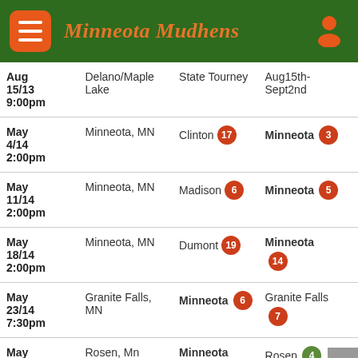Minneota Mudhens
| Date/Time | Location | Team 1 | Team 2 |
| --- | --- | --- | --- |
| Aug 15/13 9:00pm | Delano/Maple Lake | State Tourney | Aug15th-Sept2nd |
| May 4/14 2:00pm | Minneota, MN | Clinton 17 | Minneota 3 |
| May 11/14 2:00pm | Minneota, MN | Madison 6 | Minneota 5 |
| May 18/14 2:00pm | Minneota, MN | Dumont 19 | Minneota 14 |
| May 23/14 7:30pm | Granite Falls, MN | Minneota 6 | Granite Falls 7 |
| May ... | Rosen, Mn | Minneota ... | Rosen 4 |